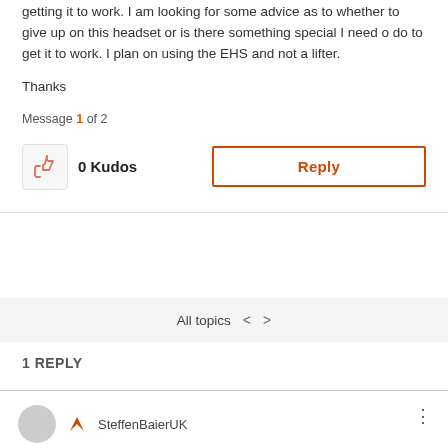getting it to work. I am looking for some advice as to whether to give up on this headset or is there something special I need o do to get it to work. I plan on using the EHS and not a lifter.
Thanks
Message 1 of 2
0 Kudos
Reply
All topics
1 REPLY
SteffenBaierUK